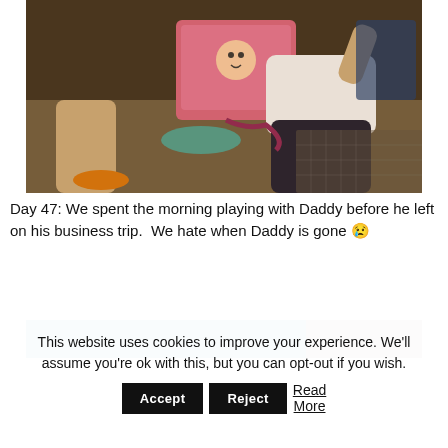[Figure (photo): Indoor photo of an adult and a young child sitting on the floor playing with toys, including a pink storage box with a cartoon character. The child is wearing a white t-shirt and dark pants. Warm indoor lighting with an Instagram-style filter.]
Day 47: We spent the morning playing with Daddy before he left on his business trip.  We hate when Daddy is gone 😢
[Figure (photo): Partial photo partially visible at the bottom, cropped by the cookie consent overlay.]
This website uses cookies to improve your experience. We'll assume you're ok with this, but you can opt-out if you wish. Accept  Reject  Read More